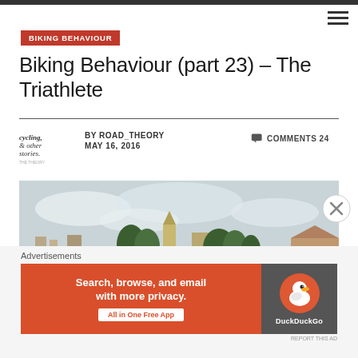BIKING BEHAVIOUR
Biking Behaviour (part 23) – The Triathlete
BY ROAD_THEORY  MAY 16, 2016  COMMENTS 24
[Figure (photo): Triathlete cyclist riding a road/time trial bike along a rural road with fields and a European village with a church steeple in the background under a cloudy sky]
Advertisements
[Figure (screenshot): DuckDuckGo advertisement banner: orange left panel with text 'Search, browse, and email with more privacy. All in One Free App', dark grey right panel with DuckDuckGo duck logo]